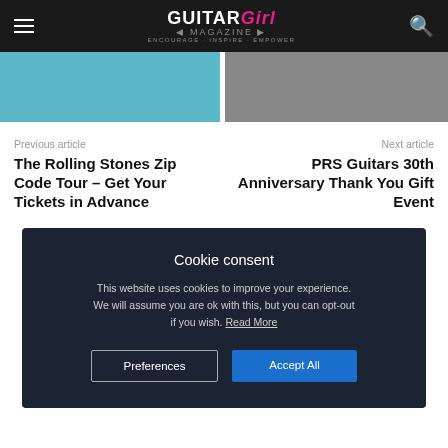Guitar Girl Magazine — ENCOURAGE. INSPIRE. EMPOWER.
[Figure (photo): Two partial photo thumbnails side by side — left with cyan/blue tones, right with gray tones]
Previous article
The Rolling Stones Zip Code Tour – Get Your Tickets in Advance
Next article
PRS Guitars 30th Anniversary Thank You Gift Event
Cookie consent

This website uses cookies to improve your experience. We will assume you are ok with this, but you can opt-out if you wish. Read More